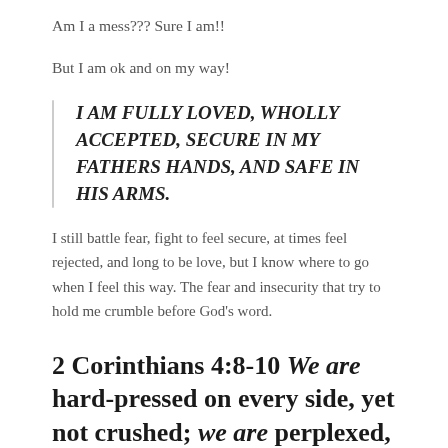Am I a mess??? Sure I am!!
But I am ok and on my way!
I AM FULLY LOVED, WHOLLY ACCEPTED, SECURE IN MY FATHERS HANDS, AND SAFE IN HIS ARMS.
I still battle fear, fight to feel secure, at times feel rejected, and long to be love, but I know where to go when I feel this way. The fear and insecurity that try to hold me crumble before God’s word.
2 Corinthians 4:8-10 We are hard-pressed on every side, yet not crushed; we are perplexed, but